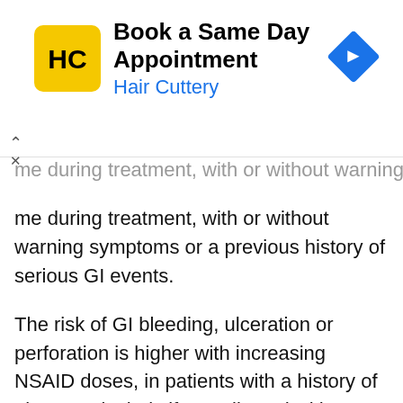[Figure (other): Hair Cuttery advertisement banner: Logo with HC initials in yellow circle, text 'Book a Same Day Appointment / Hair Cuttery' in blue, navigation/directions icon in blue diamond shape. Ad controls (expand chevron and X close button) on the left side.]
me during treatment, with or without warning symptoms or a previous history of serious GI events.
The risk of GI bleeding, ulceration or perforation is higher with increasing NSAID doses, in patients with a history of ulcer, particularly if complicated with haemorrhage or perforation , and in the elderly.).
Patients with a history of gastrointestinal disease, particularly when elderly, should report any unusual abdominal symptoms (especially gastrointestinal bleeding) particularly in the initial stages of treatment.